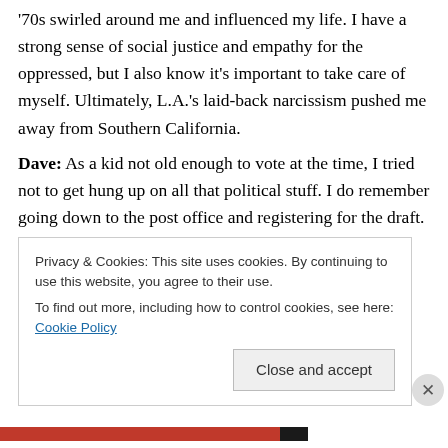'70s swirled around me and influenced my life. I have a strong sense of social justice and empathy for the oppressed, but I also know it's important to take care of myself. Ultimately, L.A.'s laid-back narcissism pushed me away from Southern California.
Dave: As a kid not old enough to vote at the time, I tried not to get hung up on all that political stuff. I do remember going down to the post office and registering for the draft. Fortunately, it never came to any more than that. Music was a creative outlet and escape for me, to some degree.
[truncated line partially visible]
Privacy & Cookies: This site uses cookies. By continuing to use this website, you agree to their use. To find out more, including how to control cookies, see here: Cookie Policy
Close and accept